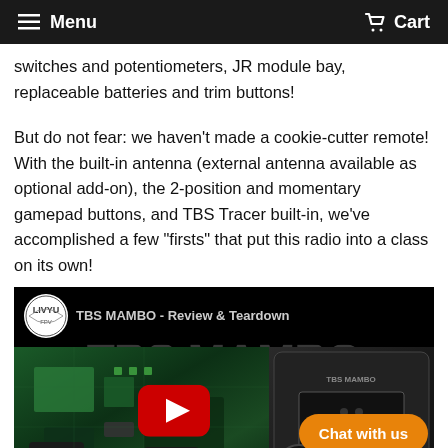Menu   Cart
switches and potentiometers, JR module bay, replaceable batteries and trim buttons!
But do not fear: we haven't made a cookie-cutter remote! With the built-in antenna (external antenna available as optional add-on), the 2-position and momentary gamepad buttons, and TBS Tracer built-in, we've accomplished a few "firsts" that put this radio into a class on its own!
[Figure (screenshot): YouTube video thumbnail for 'TBS MAMBO - Review & Teardown' showing a circuit board on the left and a radio controller on the right with a red YouTube play button in the center. Overlay shows a Chat with us button and a Contact Us button.]